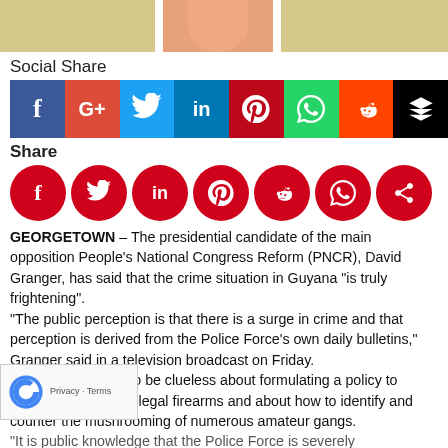[Figure (photo): Top banner with a person's photo in the center and tan/beige ad blocks on either side]
Social Share
[Figure (infographic): Social share icon bar with Facebook (blue), Google+ (pink), Twitter (cyan), LinkedIn (dark blue), Pinterest (dark red), WhatsApp (green), Reddit (red), Buffer (black)]
Share
[Figure (infographic): Row of red circular social share icons: Facebook, Twitter, LinkedIn, Pinterest, Reddit, WhatsApp, Share]
GEORGETOWN – The presidential candidate of the main opposition People's National Congress Reform (PNCR), David Granger, has said that the crime situation in Guyana "is truly frightening".
"The public perception is that there is a surge in crime and that perception is derived from the Police Force's own daily bulletins," Granger said in a television broadcast on Friday.
"The Force seems to be clueless about formulating a policy to stanch the influx of illegal firearms and about how to identify and counter the mushrooming of numerous amateur gangs.
"It is public knowledge that the Police Force is severely